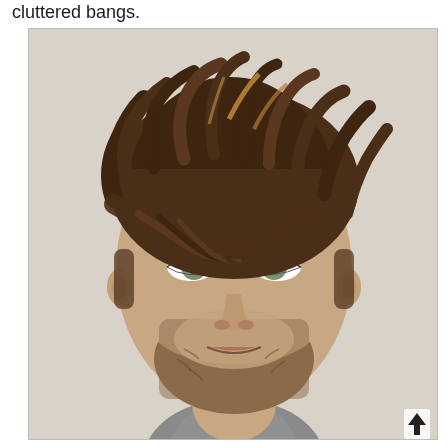cluttered bangs.
[Figure (photo): Portrait photo of a young man with messy, textured brown hair with bangs falling across his forehead, light stubble beard, wearing a grey top, against a light beige background. A small upward arrow icon is visible in the bottom right corner of the photo.]